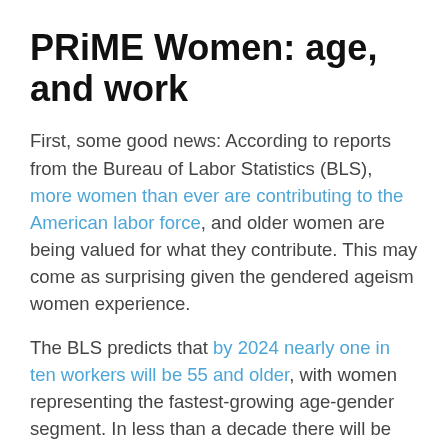PRiME Women: age, and work
First, some good news: According to reports from the Bureau of Labor Statistics (BLS), more women than ever are contributing to the American labor force, and older women are being valued for what they contribute. This may come as surprising given the gendered ageism women experience.
The BLS predicts that by 2024 nearly one in ten workers will be 55 and older, with women representing the fastest-growing age-gender segment. In less than a decade there will be twice as many older women as women aged 16–24.